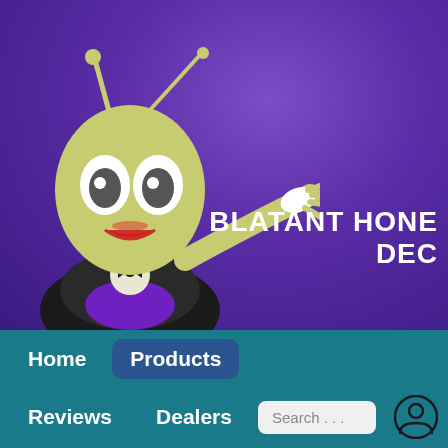[Figure (illustration): Website header banner with purple radial gradient background. Features a cartoon alien character (yellow-green skin, large black eyes, antennae, wearing a black tuxedo) pointing to the right with an outstretched arm. Text on the right reads 'BLATANT HONE' and 'DEC' (partially cropped).]
[Figure (screenshot): Navigation bar with teal/dark cyan background. Row 1: 'Home' button (plain) and 'Products' button (highlighted with dark blue rounded rectangle). Row 2: 'Reviews' and 'Dealers' buttons, a search box with placeholder 'Search . . .' and a circular user/account icon. Row 3: Partially visible menu items (cut off at bottom).]